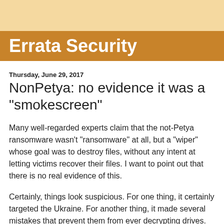Errata Security
Thursday, June 29, 2017
NonPetya: no evidence it was a "smokescreen"
Many well-regarded experts claim that the not-Petya ransomware wasn't "ransomware" at all, but a "wiper" whose goal was to destroy files, without any intent at letting victims recover their files. I want to point out that there is no real evidence of this.
Certainly, things look suspicious. For one thing, it certainly targeted the Ukraine. For another thing, it made several mistakes that prevent them from ever decrypting drives. Their email account was shutdown, and it corrupts the boot sector.